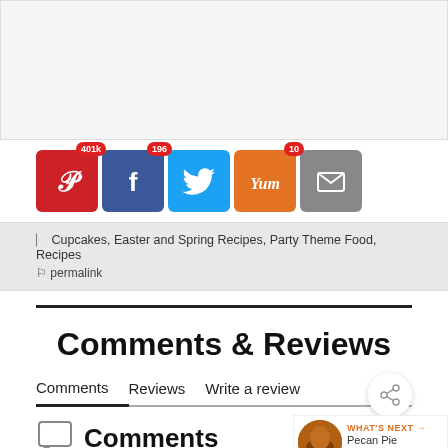[Figure (other): Gray placeholder area at top of page]
[Figure (other): Social sharing buttons row: Pinterest (401k), Facebook (196), Twitter, Yummly (10), Email]
Cupcakes, Easter and Spring Recipes, Party Theme Food, Recipes
permalink
Comments & Reviews
Comments	Reviews	Write a review
Comments
WHAT'S NEXT → Pecan Pie Pumpkin...
Strawberry Shortcake Cupcakes — 101 Comments